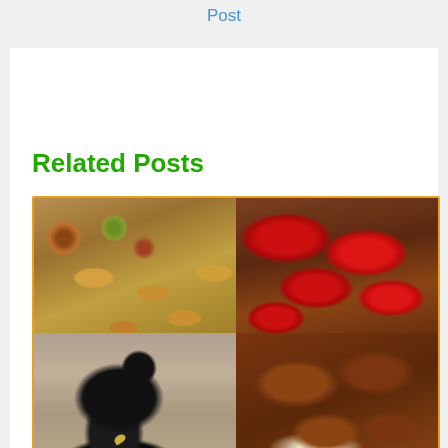Post
Related Posts
[Figure (photo): Collage of four images related to Pitru Paksha/Shradh rituals: top-left shows brass ritual dishes with offerings, top-right shows red flower offerings in clay bowls, bottom-left shows a crow (bird), bottom-right shows clay bowls with ritual offerings and hands.]
Significance of Pitru Paksha or Shradh & Date 2022